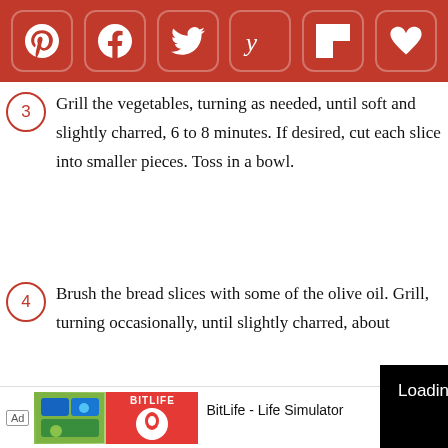[Figure (other): Social sharing toolbar with Pinterest, Facebook, Twitter, Yummly, Flipboard, and heart/save icons in red rounded rectangles]
(3) Grill the vegetables, turning as needed, until soft and slightly charred, 6 to 8 minutes. If desired, cut each slice into smaller pieces. Toss in a bowl.
(4) Brush the bread slices with some of the olive oil. Grill, turning occasionally, until slightly charred, about [partially obscured] and cut each s[partially obscured]
Make the anchoïade
(5) Place the gar[partially obscured]
[Figure (screenshot): Black video player overlay showing 'Loading ad' text, a spinning loader circle, pause button, fullscreen button, and mute button]
[Figure (other): Bottom advertisement banner for BitLife - Life Simulator app with Ad label, app screenshots, and Install button]